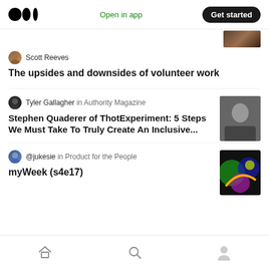Medium — Open in app — Get started
Scott Reeves
The upsides and downsides of volunteer work
Tyler Gallagher in Authority Magazine
Stephen Quaderer of ThotExperiment: 5 Steps We Must Take To Truly Create An Inclusive...
@jukesie in Product for the People
myWeek (s4e17)
Home | Search | Profile